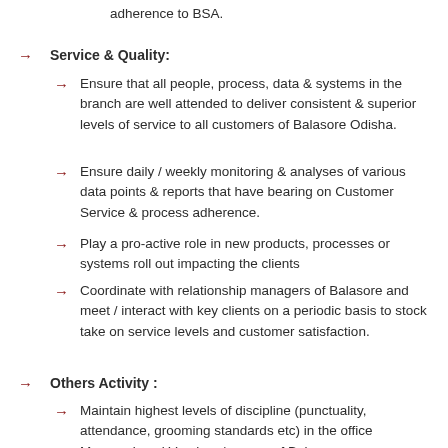adherence to BSA.
Service & Quality:
Ensure that all people, process, data & systems in the branch are well attended to deliver consistent & superior levels of service to all customers of Balasore Odisha.
Ensure daily / weekly monitoring & analyses of various data points & reports that have bearing on Customer Service & process adherence.
Play a pro-active role in new products, processes or systems roll out impacting the clients
Coordinate with relationship managers of Balasore and meet / interact with key clients on a periodic basis to stock take on service levels and customer satisfaction.
Others Activity :
Maintain highest levels of discipline (punctuality, attendance, grooming standards etc) in the office
Manage Local Vendors /agency of Balasore